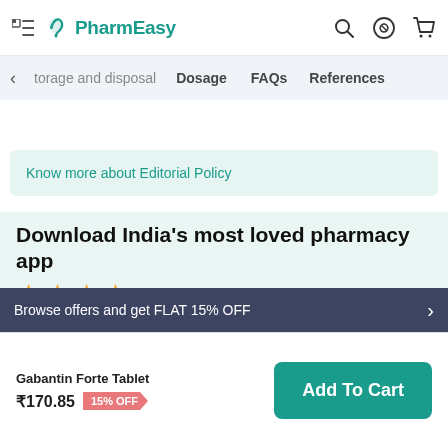PharmEasy
torage and disposal  Dosage  FAQs  References
Know more about Editorial Policy
Download India's most loved pharmacy app
4.2 (1Cr+ Downloads)
Quick & easy order tracking
Personalized Content & recommendations
Browse offers and get FLAT 15% OFF
Gabantin Forte Tablet ₹170.85 15% OFF
Add To Cart